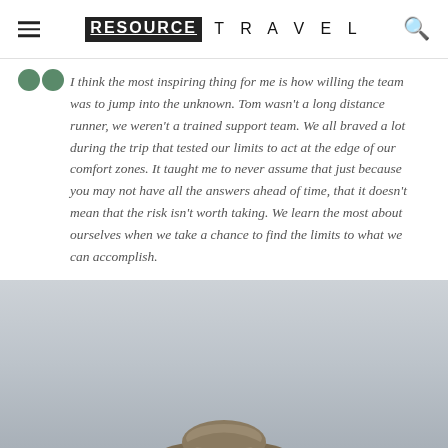RESOURCE TRAVEL
I think the most inspiring thing for me is how willing the team was to jump into the unknown. Tom wasn't a long distance runner, we weren't a trained support team. We all braved a lot during the trip that tested our limits to act at the edge of our comfort zones. It taught me to never assume that just because you may not have all the answers ahead of time, that it doesn't mean that the risk isn't worth taking. We learn the most about ourselves when we take a chance to find the limits to what we can accomplish.
[Figure (photo): Outdoor photo, partially visible, showing a grey sky background with the top of a hat or helmet visible at the bottom edge of the image.]